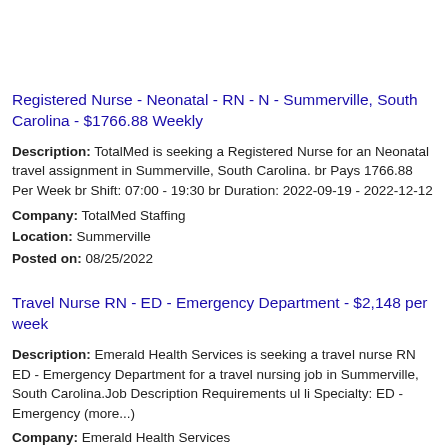Registered Nurse - Neonatal - RN - N - Summerville, South Carolina - $1766.88 Weekly
Description: TotalMed is seeking a Registered Nurse for an Neonatal travel assignment in Summerville, South Carolina. br Pays 1766.88 Per Week br Shift: 07:00 - 19:30 br Duration: 2022-09-19 - 2022-12-12 Company: TotalMed Staffing Location: Summerville Posted on: 08/25/2022
Travel Nurse RN - ED - Emergency Department - $2,148 per week
Description: Emerald Health Services is seeking a travel nurse RN ED - Emergency Department for a travel nursing job in Summerville, South Carolina.Job Description Requirements ul li Specialty: ED - Emergency (more...) Company: Emerald Health Services Location: Summerville Posted on: 08/25/2022